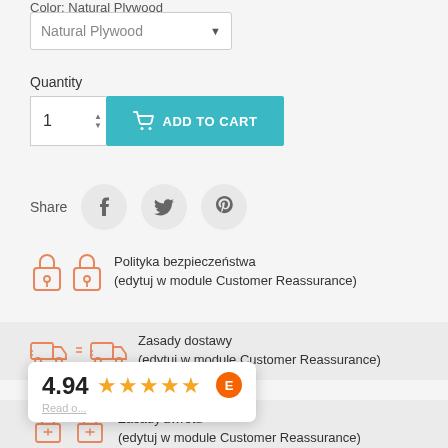Color: Natural Plywood
Natural Plywood
Quantity
1
ADD TO CART
Share
Polityka bezpieczeństwa (edytuj w module Customer Reassurance)
Zasady dostawy (edytuj w module Customer Reassurance)
Zasady zwrotu (edytuj w module Customer Reassurance)
4.94
Read o...